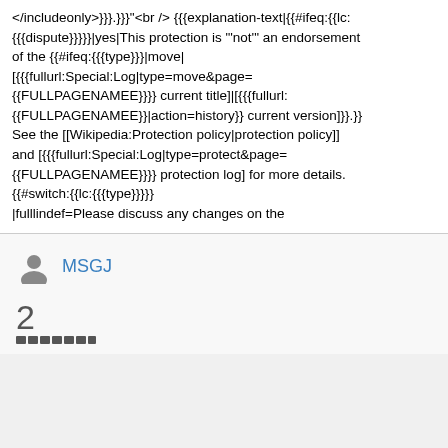</includeonly>}}}.}}}"<br /> {{{explanation-text|{{#ifeq:{{lc:{{{dispute}}}}}|yes|This protection is "'not'" an endorsement of the {{#ifeq:{{{type}}}|move|[{{{fullurl:Special:Log|type=move&page={{FULLPAGENAMEE}}}} current title]|[{{{fullurl:{{FULLPAGENAMEE}}|action=history}} current version]}}.}} See the [[Wikipedia:Protection policy|protection policy]] and [{{{fullurl:Special:Log|type=protect&page={{FULLPAGENAMEE}}}} protection log] for more details. {{#switch:{{lc:{{{type}}}}} |fulllindef=Please discuss any changes on the
MSGJ
2